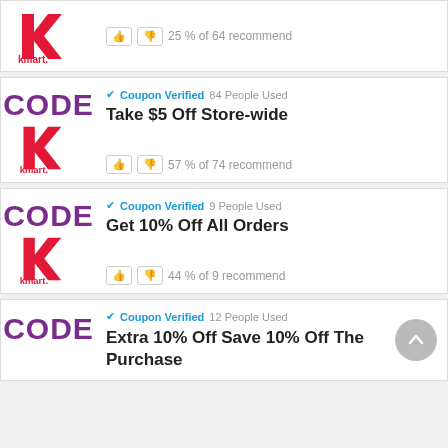[Figure (logo): Kmart logo with red K and red kmart text]
25 % of 64 recommend
[Figure (logo): CODE label in purple and Kmart logo]
Coupon Verified  84 People Used
Take $5 Off Store-wide
57 % of 74 recommend
[Figure (logo): CODE label in purple and Kmart logo]
Coupon Verified  9 People Used
Get 10% Off All Orders
44 % of 9 recommend
[Figure (logo): CODE label in purple and Kmart logo]
Coupon Verified  12 People Used
Extra 10% Off Save 10% Off The Purchase